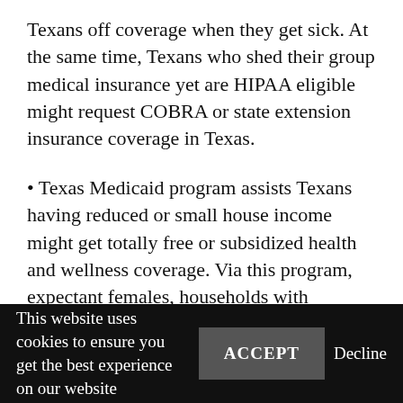Texans off coverage when they get sick. At the same time, Texans who shed their group medical insurance yet are HIPAA eligible might request COBRA or state extension insurance coverage in Texas.
Texas Medicaid program assists Texans having reduced or small house income might get totally free or subsidized health and wellness coverage. Via this program, expectant females, households with children, senior and impaired people are aided. At the same time, if a woman is diagnosed with bust or cervical cancer cells, she may be
This website uses cookies to ensure you get the best experience on our website